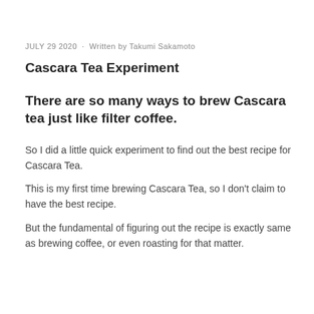JULY 29 2020  ·  Written by Takumi Sakamoto
Cascara Tea Experiment
There are so many ways to brew Cascara tea just like filter coffee.
So I did a little quick experiment to find out the best recipe for Cascara Tea.
This is my first time brewing Cascara Tea, so I don't claim to have the best recipe.
But the fundamental of figuring out the recipe is exactly same as brewing coffee, or even roasting for that matter.